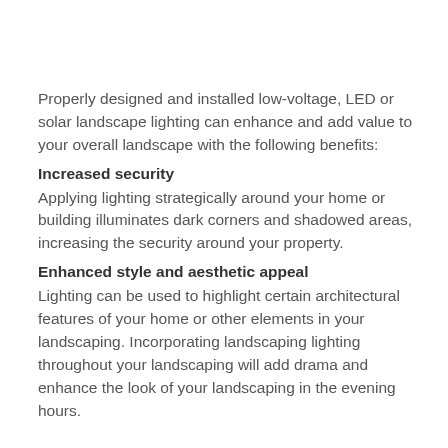Properly designed and installed low-voltage, LED or solar landscape lighting can enhance and add value to your overall landscape with the following benefits:
Increased security
Applying lighting strategically around your home or building illuminates dark corners and shadowed areas, increasing the security around your property.
Enhanced style and aesthetic appeal
Lighting can be used to highlight certain architectural features of your home or other elements in your landscaping. Incorporating landscaping lighting throughout your landscaping will add drama and enhance the look of your landscaping in the evening hours.